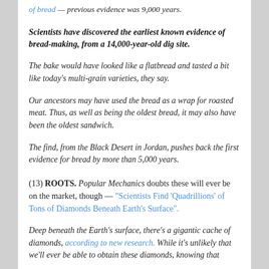of bread — previous evidence was 9,000 years.
Scientists have discovered the earliest known evidence of bread-making, from a 14,000-year-old dig site.
The bake would have looked like a flatbread and tasted a bit like today's multi-grain varieties, they say.
Our ancestors may have used the bread as a wrap for roasted meat. Thus, as well as being the oldest bread, it may also have been the oldest sandwich.
The find, from the Black Desert in Jordan, pushes back the first evidence for bread by more than 5,000 years.
(13) ROOTS. Popular Mechanics doubts these will ever be on the market, though — "Scientists Find 'Quadrillions' of Tons of Diamonds Beneath Earth's Surface".
Deep beneath the Earth's surface, there's a gigantic cache of diamonds, according to new research. While it's unlikely that we'll ever be able to obtain these diamonds, knowing that